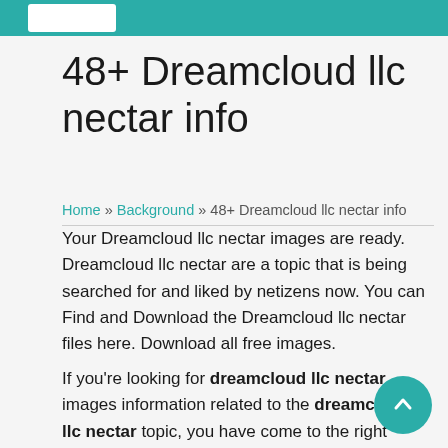48+ Dreamcloud llc nectar info
Home » Background » 48+ Dreamcloud llc nectar info
Your Dreamcloud llc nectar images are ready. Dreamcloud llc nectar are a topic that is being searched for and liked by netizens now. You can Find and Download the Dreamcloud llc nectar files here. Download all free images.
If you're looking for dreamcloud llc nectar images information related to the dreamcloud llc nectar topic, you have come to the right site. Our website always provides you with suggestions for seeing the highest quality video and picture content, please kindly search and find more informative video content and graphics that